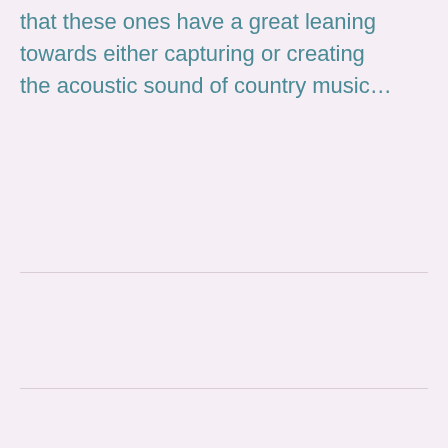that these ones have a great leaning towards either capturing or creating the acoustic sound of country music…